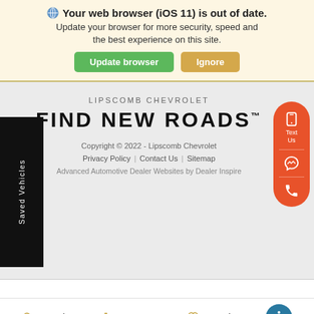🌐 Your web browser (iOS 11) is out of date. Update your browser for more security, speed and the best experience on this site. Update browser | Ignore
LIPSCOMB CHEVROLET
FIND NEW ROADS™
Copyright © 2022 - Lipscomb Chevrolet
Privacy Policy | Contact Us | Sitemap
Advanced Automotive Dealer Websites by Dealer Inspire
Saved Vehicles
Text Us
Search
Contact
Saved